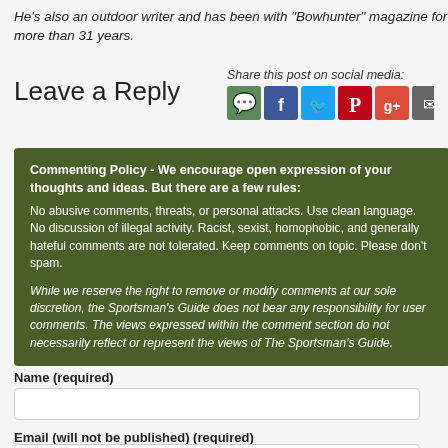He's also an outdoor writer and has been with "Bowhunter" magazine for more than 31 years.
Leave a Reply
Share this post on social media:
[Figure (infographic): Row of 6 social media share icons: comment/chat (green), Facebook (blue), Twitter (light blue), Pinterest (red), Google+ (red-orange), Email (grey)]
Commenting Policy - We encourage open expression of your thoughts and ideas. But there are a few rules:
No abusive comments, threats, or personal attacks. Use clean language. No discussion of illegal activity. Racist, sexist, homophobic, and generally hateful comments are not tolerated. Keep comments on topic. Please don't spam.

While we reserve the right to remove or modify comments at our sole discretion, the Sportsman's Guide does not bear any responsibility for user comments. The views expressed within the comment section do not necessarily reflect or represent the views of The Sportsman's Guide.
Name (required)
Email (will not be published) (required)